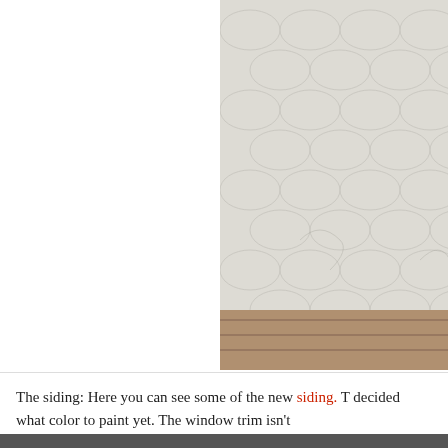[Figure (photo): A porch scene showing white weathered fish-scale siding on a house exterior, a dark red/maroon wooden chair, a small dark red table, a light wood bench or table surface, and a large white enamel pot with red trim holding red and white flowering impatiens plants. A copyright watermark '© 2012 Ox...' is visible at the bottom right of the image.]
The siding: Here you can see some of the new siding.  T decided what color to paint yet.  The window trim isn't